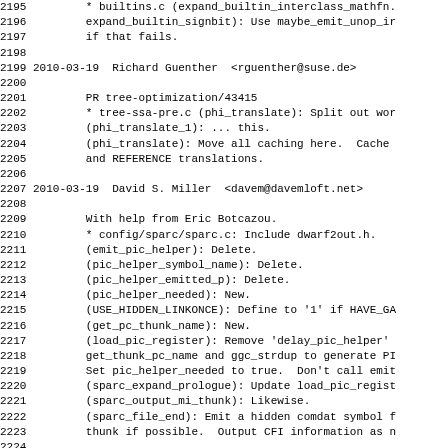2195         * builtins.c (expand_builtin_mathfn.
2196         expand_builtin_signbit): Use maybe_emit_unop_in
2197         if that fails.
2198
2199 2010-03-19  Richard Guenther  <rguenther@suse.de>
2200
2201         PR tree-optimization/43415
2202         * tree-ssa-pre.c (phi_translate): Split out wor
2203         (phi_translate_1): ... this.
2204         (phi_translate): Move all caching here.  Cache
2205         and REFERENCE translations.
2206
2207 2010-03-19  David S. Miller  <davem@davemloft.net>
2208
2209         With help from Eric Botcazou.
2210         * config/sparc/sparc.c: Include dwarf2out.h.
2211         (emit_pic_helper): Delete.
2212         (pic_helper_symbol_name): Delete.
2213         (pic_helper_emitted_p): Delete.
2214         (pic_helper_needed): New.
2215         (USE_HIDDEN_LINKONCE): Define to '1' if HAVE_GA
2216         (get_pc_thunk_name): New.
2217         (load_pic_register): Remove 'delay_pic_helper'
2218         get_thunk_pc_name and ggc_strdup to generate PI
2219         Set pic_helper_needed to true.  Don't call emit
2220         (sparc_expand_prologue): Update load_pic_regist
2221         (sparc_output_mi_thunk): Likewise.
2222         (sparc_file_end): Emit a hidden comdat symbol f
2223         thunk if possible.  Output CFI information as n
2224
2225 2010-03-18  Francois-Xavier Coudert <fxcoudert@gcc.gnu.
2226         Jack Howarth <howarth@bromo.med.uc.edu>